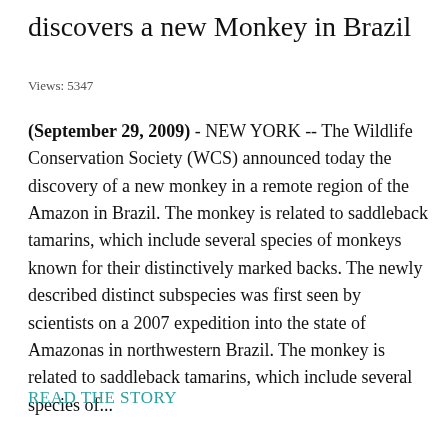discovers a new Monkey in Brazil
Views: 5347
(September 29, 2009)  -  NEW YORK -- The Wildlife Conservation Society (WCS) announced today the discovery of a new monkey in a remote region of the Amazon in Brazil. The monkey is related to saddleback tamarins, which include several species of monkeys known for their distinctively marked backs. The newly described distinct subspecies was first seen by scientists on a 2007 expedition into the state of Amazonas in northwestern Brazil. The monkey is related to saddleback tamarins, which include several species of...
READ THE STORY